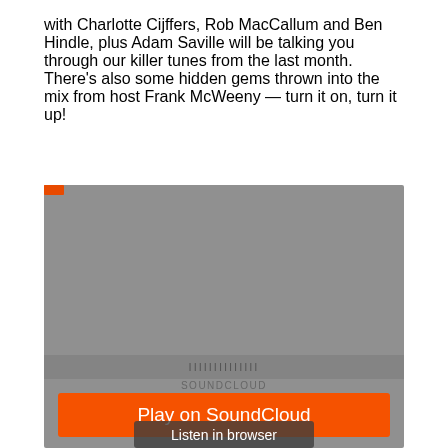with Charlotte Cijffers, Rob MacCallum and Ben Hindle, plus Adam Saville will be talking you through our killer tunes from the last month. There's also some hidden gems thrown into the mix from host Frank McWeeny — turn it on, turn it up!
[Figure (other): SoundCloud embedded player widget showing a gray player with an orange 'Play on SoundCloud' button and a 'Listen in browser' button overlay]